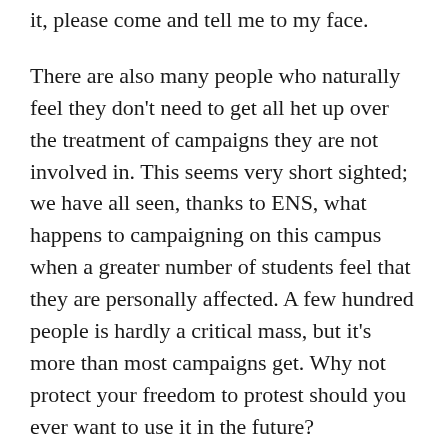it, please come and tell me to my face.
There are also many people who naturally feel they don't need to get all het up over the treatment of campaigns they are not involved in. This seems very short sighted; we have all seen, thanks to ENS, what happens to campaigning on this campus when a greater number of students feel that they are personally affected. A few hundred people is hardly a critical mass, but it's more than most campaigns get. Why not protect your freedom to protest should you ever want to use it in the future?
Another side to this is the argument that, 'well does it really matter what the Uni does? I'm here for an education'. Fair enough, but the metamorphosis of the university into what increasingly resembles a bit of a